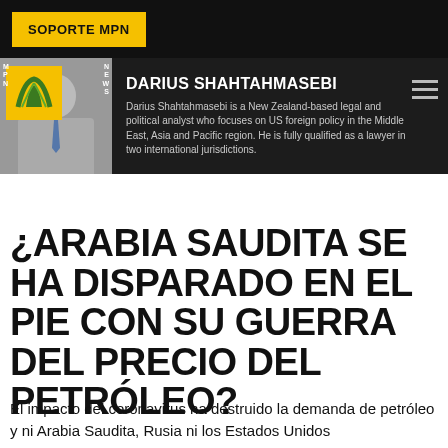SOPORTE MPN
[Figure (photo): MPN News logo with golden leaf icon overlaid on author photo (man in suit and tie)]
DARIUS SHAHTAHMASEBI
Darius Shahtahmasebi is a New Zealand-based legal and political analyst who focuses on US foreign policy in the Middle East, Asia and Pacific region. He is fully qualified as a lawyer in two international jurisdictions.
¿ARABIA SAUDITA SE HA DISPARADO EN EL PIE CON SU GUERRA DEL PRECIO DEL PETRÓLEO?
El impacto del coronavirus ha destruido la demanda de petróleo y ni Arabia Saudita, Rusia ni los Estados Unidos